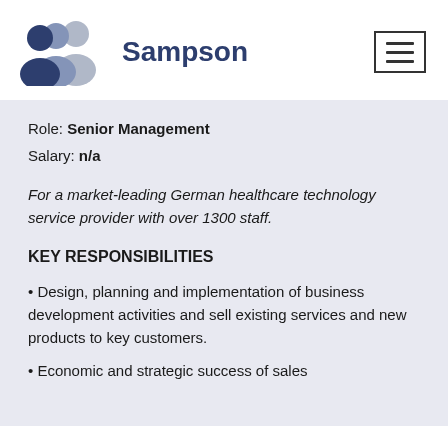[Figure (logo): Sampson company logo with two human silhouette icons in dark blue and light blue/grey, followed by the text 'Sampson' in dark blue bold font]
Role: Senior Management
Salary: n/a
For a market-leading German healthcare technology service provider with over 1300 staff.
KEY RESPONSIBILITIES
Design, planning and implementation of business development activities and sell existing services and new products to key customers.
Economic and strategic success of sales